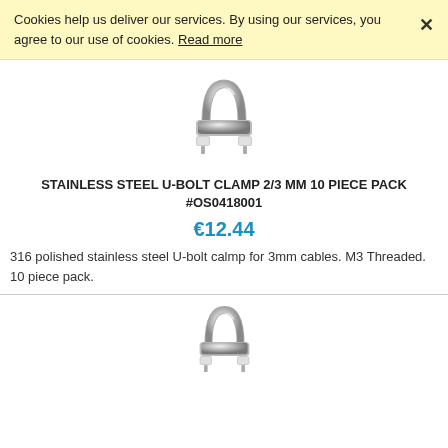Cookies help us deliver our services. By using our services, you agree to our use of cookies. Read more
[Figure (photo): Stainless steel U-bolt clamp product photo, silver metallic hardware item]
STAINLESS STEEL U-BOLT CLAMP 2/3 MM 10 PIECE PACK #OS0418001
€12.44
316 polished stainless steel U-bolt calmp for 3mm cables. M3 Threaded. 10 piece pack.
[Figure (photo): Second stainless steel U-bolt clamp product photo, silver metallic hardware item, partial view]